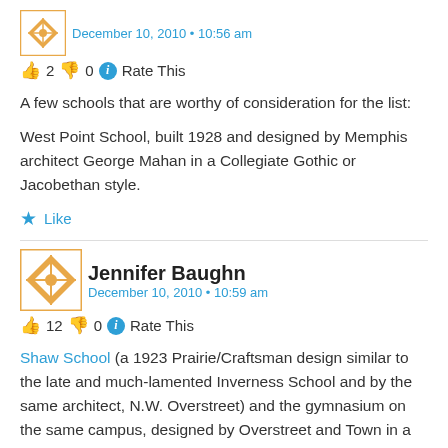[Figure (illustration): Avatar icon with orange diamond/cross pattern on white background with orange border]
December 10, 2010 • 10:56 am
👍 2 👎 0 ℹ Rate This
A few schools that are worthy of consideration for the list:
West Point School, built 1928 and designed by Memphis architect George Mahan in a Collegiate Gothic or Jacobethan style.
★ Like
[Figure (illustration): Avatar icon with orange diamond/cross pattern on white background with orange border, larger size]
Jennifer Baughn
December 10, 2010 • 10:59 am
👍 12 👎 0 ℹ Rate This
Shaw School (a 1923 Prairie/Craftsman design similar to the late and much-lamented Inverness School and by the same architect, N.W. Overstreet) and the gymnasium on the same campus, designed by Overstreet and Town in a unique Art Moderne style.
★ Like